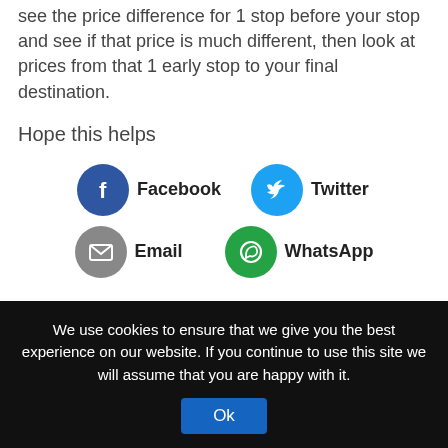see the price difference for 1 stop before your stop and see if that price is much different, then look at prices from that 1 early stop to your final destination.
Hope this helps
[Figure (other): Social share buttons: Facebook (blue circle with f), Twitter (cyan circle with bird), Email (grey circle with envelope), WhatsApp (green circle with phone)]
buses   overcharge   travel
We use cookies to ensure that we give you the best experience on our website. If you continue to use this site we will assume that you are happy with it.